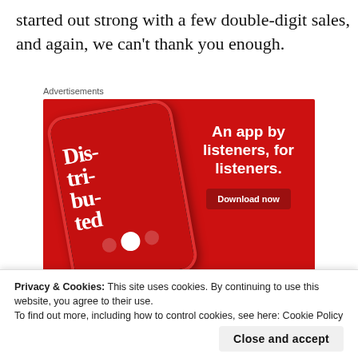started out strong with a few double-digit sales, and again, we can't thank you enough.
[Figure (screenshot): Advertisement banner showing a podcast app on a red background with the text 'An app by listeners, for listeners.' and a 'Download now' button. A phone displaying the 'Distributed' podcast is shown on the left.]
Privacy & Cookies: This site uses cookies. By continuing to use this website, you agree to their use.
To find out more, including how to control cookies, see here: Cookie Policy
seven copies Nov. 1, she's tapered off a bit. Sure,